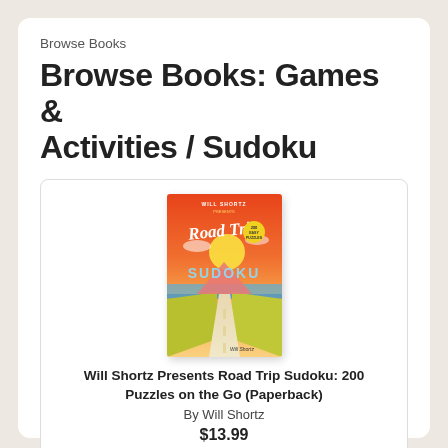Browse Books
Browse Books: Games & Activities / Sudoku
[Figure (photo): Book cover of 'Road Trip Sudoku' presented by Will Shortz. Orange and red gradient background with illustrated rural landscape, road, and yellow fields. Title 'Road Trip Sudoku' in stylized script and bold block letters.]
Will Shortz Presents Road Trip Sudoku: 200 Puzzles on the Go (Paperback)
By Will Shortz
$13.99
Add to Cart
Add to Wish List